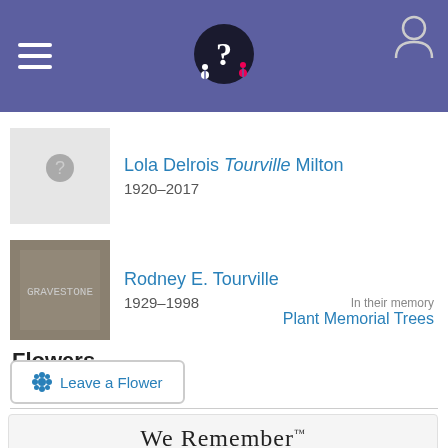Navigation header with logo and user icon
Lola Delrois Tourville Milton 1920–2017
Rodney E. Tourville 1929–1998
Flowers
In their memory
Plant Memorial Trees
Leave a Flower
[Figure (logo): We Remember by Ancestry logo with close button]